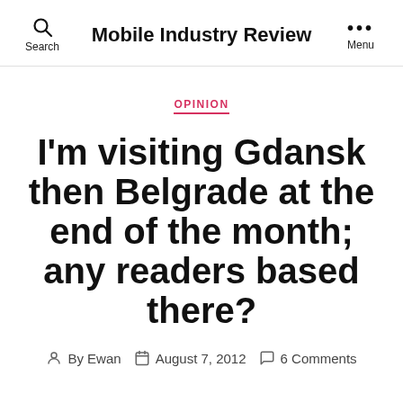Mobile Industry Review
OPINION
I'm visiting Gdansk then Belgrade at the end of the month; any readers based there?
By Ewan   August 7, 2012   6 Comments